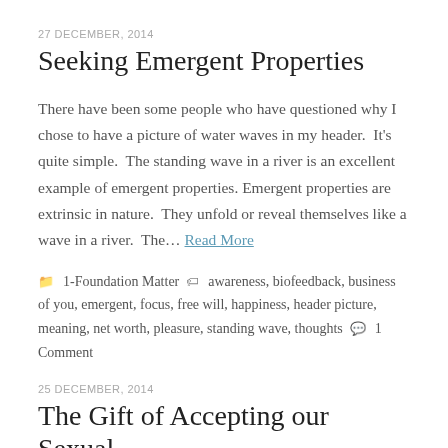27 DECEMBER, 2014
Seeking Emergent Properties
There have been some people who have questioned why I chose to have a picture of water waves in my header.  It's quite simple.  The standing wave in a river is an excellent example of emergent properties. Emergent properties are extrinsic in nature.  They unfold or reveal themselves like a wave in a river.  The… Read More
1-Foundation Matter   awareness, biofeedback, business of you, emergent, focus, free will, happiness, header picture, meaning, net worth, pleasure, standing wave, thoughts   1 Comment
25 DECEMBER, 2014
The Gift of Accepting our Sexual Nature